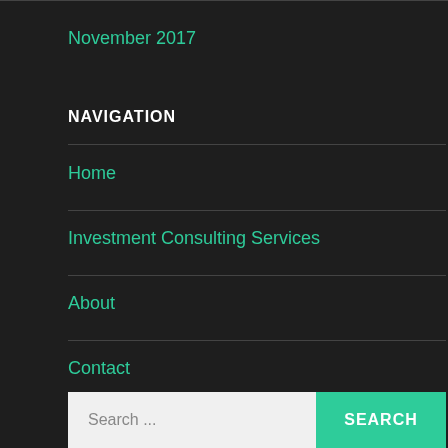November 2017
NAVIGATION
Home
Investment Consulting Services
About
Contact
Search ...